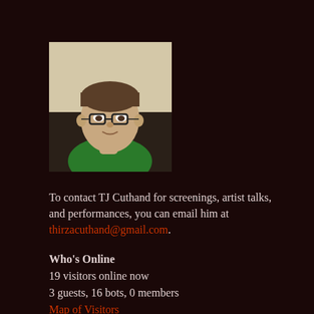[Figure (photo): Portrait photo of TJ Cuthand, a person with short brown hair wearing glasses and a green shirt, seated indoors]
To contact TJ Cuthand for screenings, artist talks, and performances, you can email him at thirzacuthand@gmail.com.
Who's Online
19 visitors online now
3 guests, 16 bots, 0 members
Map of Visitors